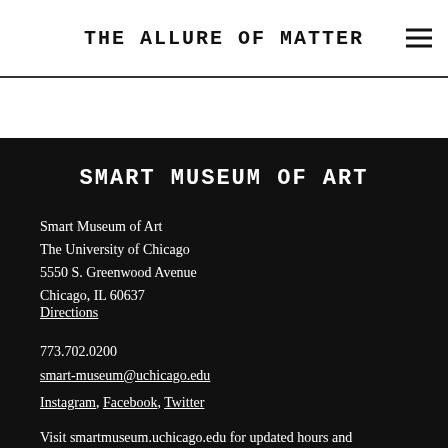THE ALLURE OF MATTER
SMART MUSEUM OF ART
Smart Museum of Art
The University of Chicago
5550 S. Greenwood Avenue
Chicago, IL 60637
Directions
773.702.0200
smart-museum@uchicago.edu
Instagram, Facebook, Twitter
Visit smartmuseum.uchicago.edu for updated hours and